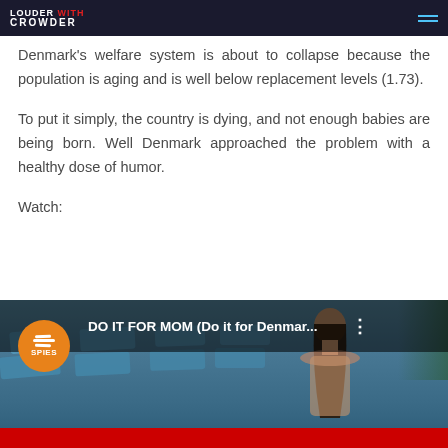LOUDER WITH CROWDER
Denmark's welfare system is about to collapse because the population is aging and is well below replacement levels (1.73).
To put it simply, the country is dying, and not enough babies are being born. Well Denmark approached the problem with a healthy dose of humor.
Watch:
[Figure (screenshot): Video thumbnail for 'DO IT FOR MOM (Do it for Denmar...' by Spies travel company, showing a woman at a pool resort with blue lounge chairs in background. Orange Spies logo circle in top left. Red play bar at bottom.]